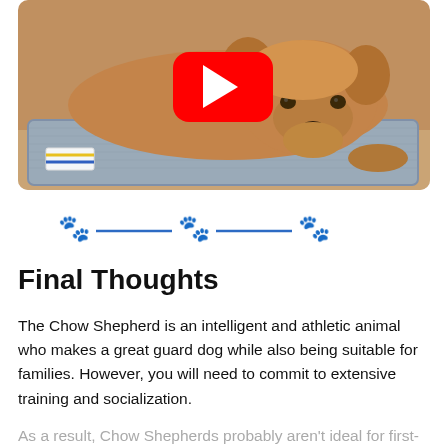[Figure (photo): A golden/brown dog (Chow Shepherd) lying on a gray elevated dog bed/mat. A YouTube play button overlay is centered on the image. There is a small label/tag visible at bottom left of the mat.]
[Figure (illustration): Decorative divider with three blue paw print icons and two blue horizontal lines between them, centered on the page.]
Final Thoughts
The Chow Shepherd is an intelligent and athletic animal who makes a great guard dog while also being suitable for families. However, you will need to commit to extensive training and socialization.
As a result, Chow Shepherds probably aren't ideal for first-